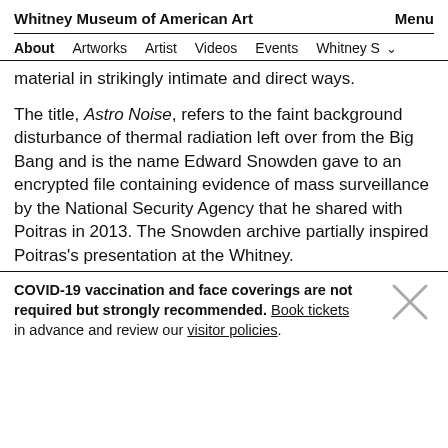Whitney Museum of American Art    Menu
About  Artworks  Artist  Videos  Events  Whitney S
material in strikingly intimate and direct ways.
The title, Astro Noise, refers to the faint background disturbance of thermal radiation left over from the Big Bang and is the name Edward Snowden gave to an encrypted file containing evidence of mass surveillance by the National Security Agency that he shared with Poitras in 2013. The Snowden archive partially inspired Poitras's presentation at the Whitney.
COVID-19 vaccination and face coverings are not required but strongly recommended. Book tickets in advance and review our visitor policies.